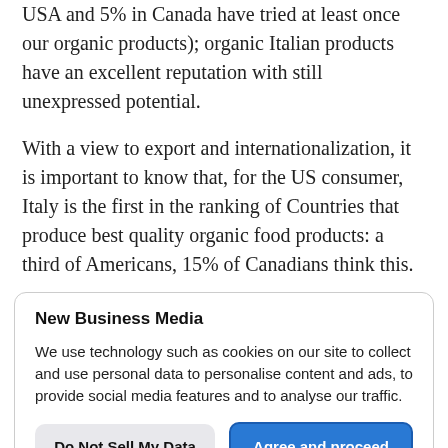USA and 5% in Canada have tried at least once our organic products); organic Italian products have an excellent reputation with still unexpressed potential.
With a view to export and internationalization, it is important to know that, for the US consumer, Italy is the first in the ranking of Countries that produce best quality organic food products: a third of Americans, 15% of Canadians think this.
New Business Media
We use technology such as cookies on our site to collect and use personal data to personalise content and ads, to provide social media features and to analyse our traffic.
Do Not Sell My Data
Agree and proceed
Powered by UniConsent